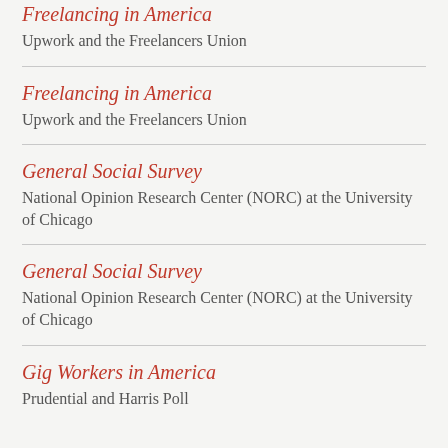Freelancing in America
Upwork and the Freelancers Union
Freelancing in America
Upwork and the Freelancers Union
General Social Survey
National Opinion Research Center (NORC) at the University of Chicago
General Social Survey
National Opinion Research Center (NORC) at the University of Chicago
Gig Workers in America
Prudential and Harris Poll